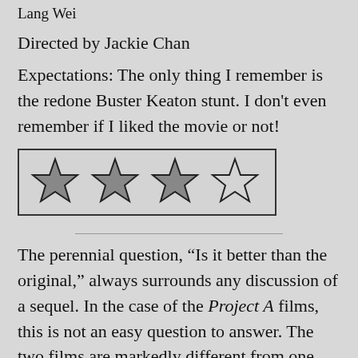Lang Wei
Directed by Jackie Chan
Expectations: The only thing I remember is the redone Buster Keaton stunt. I don't even remember if I liked the movie or not!
[Figure (other): Four stars rating graphic, approximately 3.5 out of 4 stars filled (three dark/grey stars and one outline/empty star), enclosed in a rectangular border]
The perennial question, “Is it better than the original,” always surrounds any discussion of a sequel. In the case of the Project A films, this is not an easy question to answer. The two films are markedly different from one another, with the most defining difference being the absence of Sammo Hung and...